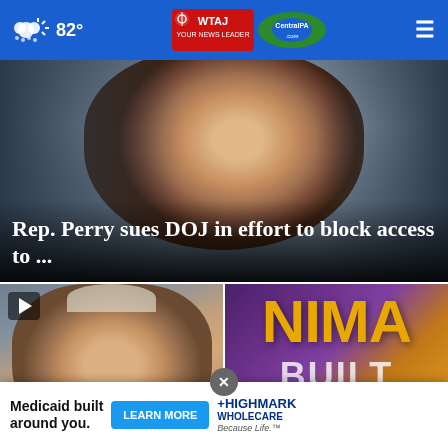82° WTAJ CentralPA.com
[Figure (photo): Close-up photo of a person's face in dark background, news story header image]
Rep. Perry sues DOJ in effort to block access to ...
[Figure (photo): Photo of Joe Biden speaking, with play button overlay indicating video content]
Biden announces student loan forgiveness plan
[Figure (photo): Graphic with large yellow text reading 'NIMA' and 'BUILT' on purple background]
Duo charged after dogs ... without food
Medicaid built around you. LEARN MORE HIGHMARK WHOLECARE Because Life.